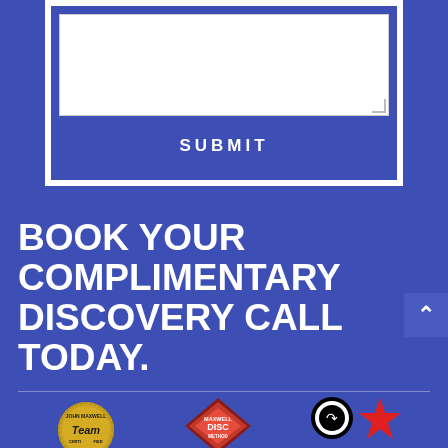[Figure (screenshot): A web form with a white textarea input box on a blue background, with a SUBMIT button below it, all inside a white-bordered container.]
BOOK YOUR COMPLIMENTARY DISCOVERY CALL TODAY.
[Figure (logo): Row of certification logos: John Maxwell Team gold seal, Maxwell DISC Method diamond badge, and a circle-plus-star logo at the bottom of the page.]